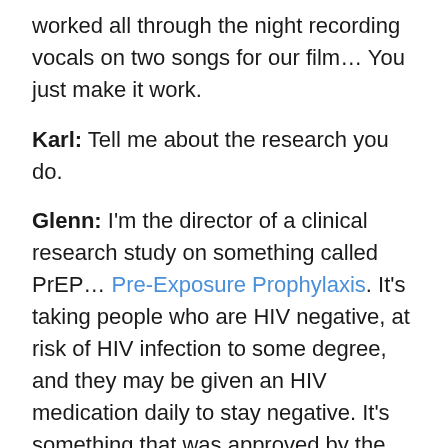worked all through the night recording vocals on two songs for our film… You just make it work.
Karl: Tell me about the research you do.
Glenn: I'm the director of a clinical research study on something called PrEP… Pre-Exposure Prophylaxis. It's taking people who are HIV negative, at risk of HIV infection to some degree, and they may be given an HIV medication daily to stay negative. It's something that was approved by the FDA in 2012 but this study is looking at real-world application of it… Adherence, behavioral change, cost-per-person… And it may help develop medical protocols all over the place because it's pioneering.
Karl: That sounds stressful, but rewarding and humbling I